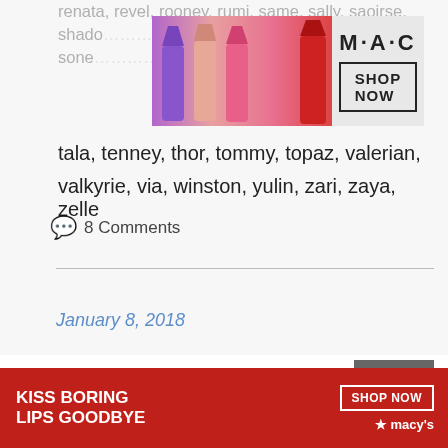renata, revel, rooney, rumi, same, sally, saoirse, shado... sone...
[Figure (photo): MAC Cosmetics advertisement banner showing colorful lipsticks with 'M·A·C' logo and 'SHOP NOW' button]
tala, tenney, thor, tommy, topaz, valerian, valkyrie, via, winston, yulin, zari, zaya, zelle
8 Comments
January 8, 2018
We use cookies on our website to give you the most relevant experience by remembering your preferences and repeat visits. By clicking “Accept”, you consent to the use of ALL the cookies.
Do not sell my personal information.
CLOSE
[Figure (photo): Macy's cosmetics advertisement: 'KISS BORING LIPS GOODBYE' with 'SHOP NOW' button and Macy's star logo on red background]